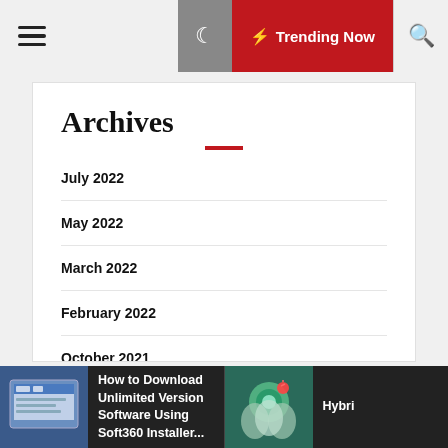Trending Now
Archives
July 2022
May 2022
March 2022
February 2022
October 2021
August 2021
How to Download Unlimited Version Software Using Soft360 Installer...
Hybri